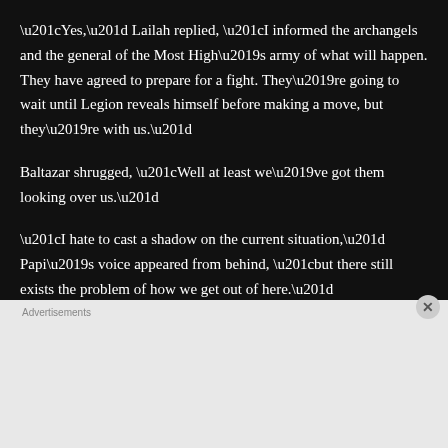“Yes,” Lailah replied, “I informed the archangels and the general of the Most High’s army of what will happen. They have agreed to prepare for a fight. They’re going to wait until Legion reveals himself before making a move, but they’re with us.”
Baltazar shrugged, “Well at least we’ve got them looking over us.”
“I hate to cast a shadow on the current situation,” Papi’s voice appeared from behind, “but there still exists the problem of how we get out of here.”
[Figure (screenshot): DuckDuckGo advertisement banner with orange background. Text reads 'Search, browse, and email with more privacy. All in One Free App' with a DuckDuckGo logo on a phone mockup.]